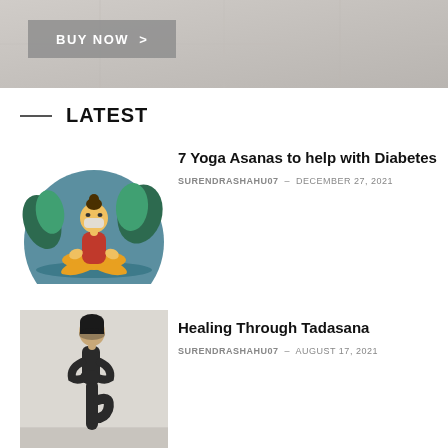[Figure (photo): Banner image with light gray/stone floor background and a 'BUY NOW >' button overlay]
LATEST
[Figure (illustration): Illustration of a woman in yoga meditation pose (lotus) wearing a mask, with teal background and tropical plant]
7 Yoga Asanas to help with Diabetes
SURENDRASHAHU07 - DECEMBER 27, 2021
[Figure (photo): Photo of a woman in black yoga outfit performing tree pose (Tadasana) against a gray wall]
Healing Through Tadasana
SURENDRASHAHU07 - AUGUST 17, 2021